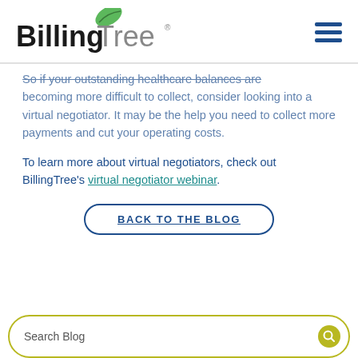BillingTree
So if your outstanding healthcare balances are becoming more difficult to collect, consider looking into a virtual negotiator. It may be the help you need to collect more payments and cut your operating costs.
To learn more about virtual negotiators, check out BillingTree's virtual negotiator webinar.
BACK TO THE BLOG
Search Blog